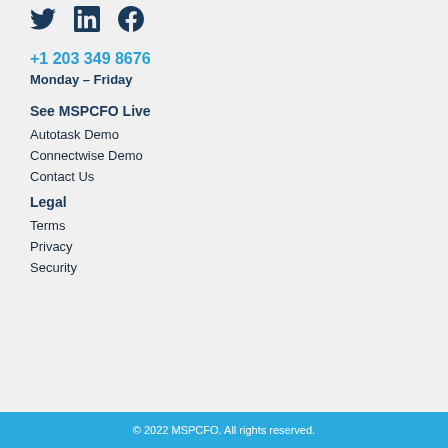[Figure (illustration): Social media icons: Twitter bird, LinkedIn 'in', and Facebook 'f']
+1 203 349 8676
Monday – Friday
See MSPCFO Live
Autotask Demo
Connectwise Demo
Contact Us
Legal
Terms
Privacy
Security
© 2022 MSPCFO. All rights reserved.